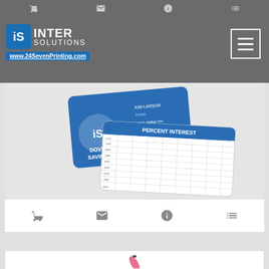[Figure (screenshot): Website header/navigation bar with cart, email, info, and list icons on gray background]
[Figure (logo): iS Inter Solutions logo with blue diamond icon, white text 'INTER SOLUTIONS', and blue URL banner reading www.24SevenPrinting.com. Hamburger menu button top right.]
[Figure (photo): Two laminated wallet cards: one blue card for Dover Savings showing iS logo and contact info for Kim Larson, and one white reference card showing a Percent Interest table.]
Laminated Wallet Card - 3.5x2.25 (2-Sided) - 14 pt.
# 2104L
7 day production time
$0.07 - $0.66 | Min Qty 250
[Figure (screenshot): Bottom navigation bar with cart, email, info, and list icons]